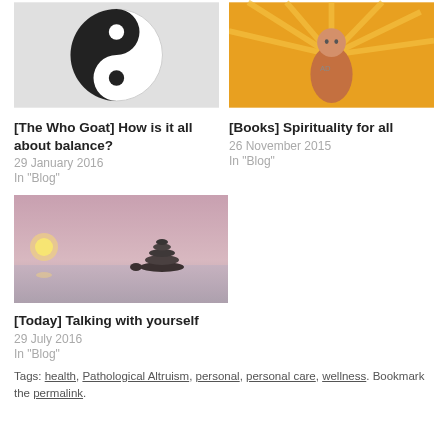[Figure (photo): Yin-yang symbol image (black and white)]
[The Who Goat] How is it all about balance?
29 January 2016
In "Blog"
[Figure (photo): Colorful illustration of a man with fire/rays background]
[Books] Spirituality for all
26 November 2015
In "Blog"
[Figure (photo): Zen stones balanced on water at sunset]
[Today] Talking with yourself
29 July 2016
In "Blog"
Tags: health, Pathological Altruism, personal, personal care, wellness. Bookmark the permalink.